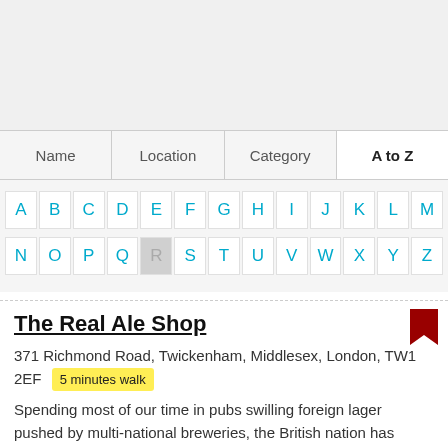[Figure (screenshot): Top grey banner area of a web page]
Name | Location | Category | A to Z
A B C D E F G H I J K L M N O P Q R S T U V W X Y Z
The Real Ale Shop
371 Richmond Road, Twickenham, Middlesex, London, TW1 2EF  5 minutes walk
Spending most of our time in pubs swilling foreign lager pushed by multi-national breweries, the British nation has turned their back on their home-grown beer... More